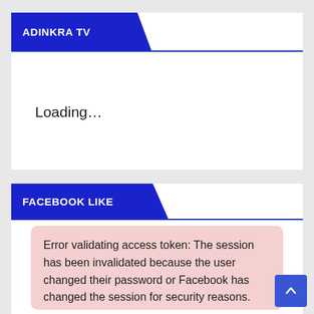ADINKRA TV
Loading…
FACEBOOK LIKE
Error validating access token: The session has been invalidated because the user changed their password or Facebook has changed the session for security reasons.